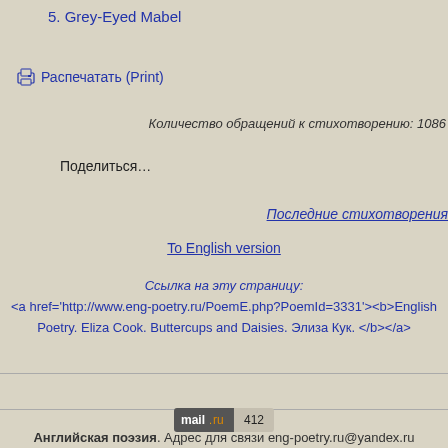5. Grey-Eyed Mabel
🖨 Распечатать (Print)
Количество обращений к стихотворению: 1086
Поделиться…
Последние стихотворения
To English version
Ссылка на эту страницу:
<a href='http://www.eng-poetry.ru/PoemE.php?PoemId=3331'><b>English Poetry. Eliza Cook. Buttercups and Daisies. Элиза Кук. </b></a>
[Figure (logo): mail.ru badge showing count 412]
Английская поэзия. Адрес для связи eng-poetry.ru@yandex.ru